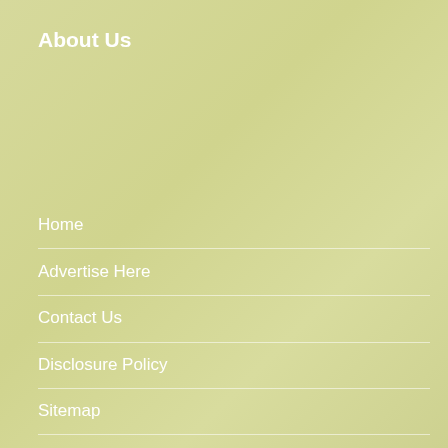About Us
Home
Advertise Here
Contact Us
Disclosure Policy
Sitemap
Leila L.Lillard, this is just to confirm that you are the owner of this domain
Leila...